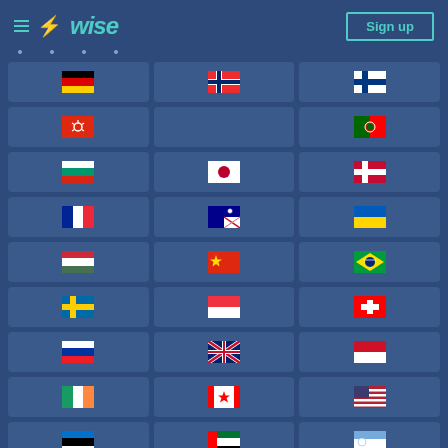Wise — Sign up
[Figure (screenshot): Wise website screenshot showing a grid of country flags representing supported currencies/countries. Flags shown include Germany, Norway, Finland, Hong Kong, Portugal, Bulgaria, Japan, Denmark, France, Australia, Ukraine, Hungary, China, Brazil, Sweden, Singapore, Switzerland, Slovakia, UK, Indonesia, Ireland, Canada, USA, Estonia, UAE, Uruguay.]